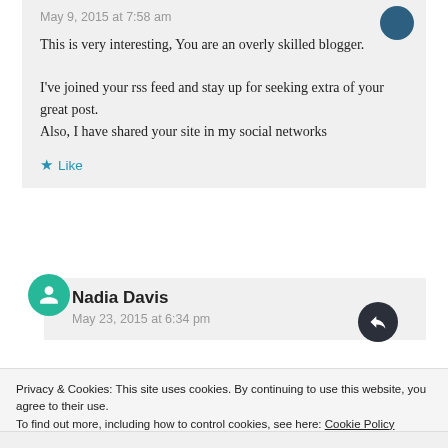May 9, 2015 at 7:58 am
This is very interesting, You are an overly skilled blogger.

I've joined your rss feed and stay up for seeking extra of your great post.
Also, I have shared your site in my social networks
Like
Nadia Davis
May 23, 2015 at 6:34 pm
Privacy & Cookies: This site uses cookies. By continuing to use this website, you agree to their use.
To find out more, including how to control cookies, see here: Cookie Policy
Close and accept